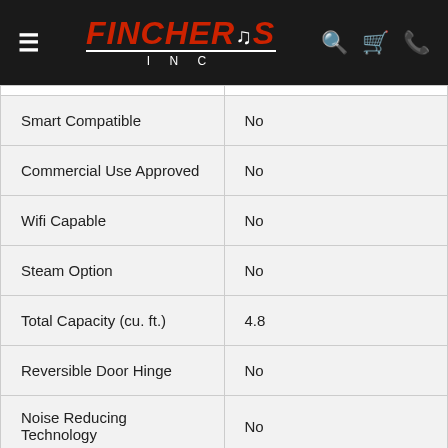Fincher's Inc
| Feature | Value |
| --- | --- |
| Smart Compatible | No |
| Commercial Use Approved | No |
| Wifi Capable | No |
| Steam Option | No |
| Total Capacity (cu. ft.) | 4.8 |
| Reversible Door Hinge | No |
| Noise Reducing Technology | No |